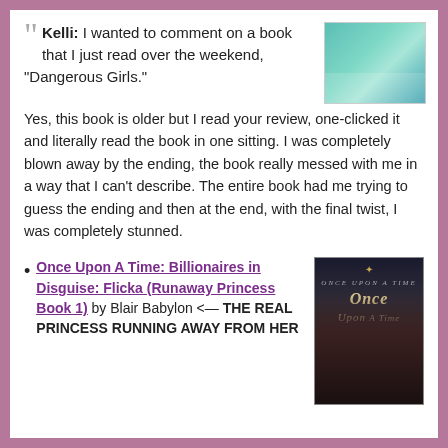Kelli: I wanted to comment on a book that I just read over the weekend, “Dangerous Girls.” Yes, this book is older but I read your review, one-clicked it and literally read the book in one sitting. I was completely blown away by the ending, the book really messed with me in a way that I can’t describe. The entire book had me trying to guess the ending and then at the end, with the final twist, I was completely stunned.
[Figure (photo): Book cover photo showing a woman in teal/turquoise dress]
Once Upon A Time: Billionaires in Disguise: Flicka (Runaway Princess Book 1) by Blair Babylon <— THE REAL PRINCESS RUNNING AWAY FROM HER
[Figure (photo): Book cover for Once Upon A Time: Billionaires in Disguise showing a shirtless man with city background]